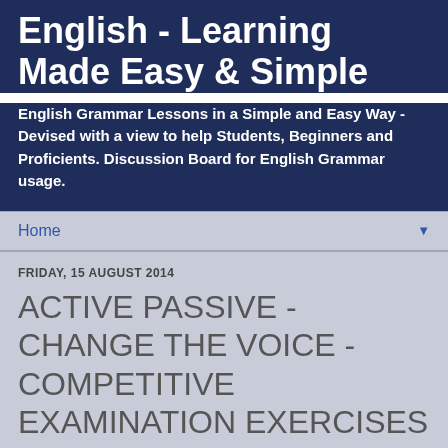English - Learning Made Easy & Simple
English Grammar Lessons in a Simple and Easy Way - Devised with a view to help Students, Beginners and Proficients. Discussion Board for English Grammar usage.
Home
FRIDAY, 15 AUGUST 2014
ACTIVE PASSIVE -CHANGE THE VOICE - COMPETITIVE EXAMINATION EXERCISES FOR PRACTICE -3 (with solutions)
ACTIVE AND PASSIVE-- CHANGE THE VOICE COMPETITIVENESS EXAMINATION QUESTIONS FOR PRACTICE...